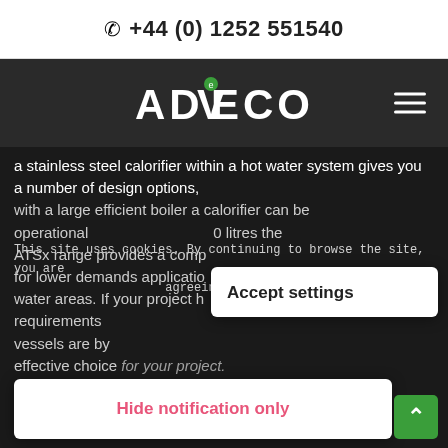+44 (0) 1252 551540
[Figure (logo): ADVECO company logo in white text on dark background, with navigation hamburger menu icon]
a stainless steel calorifier within a hot water system gives you a number of design options, with a large efficient boiler a calorifier can be operational ... to 300 - 1000 litres the ATSx range provides a compact solution for lower demands applications ... water areas. If your project h... requirements ... vessels are by ... effective choice for your project.
This site uses cookies. By continuing to browse the site, you are agreeing to our use of cookies.
Accept settings
Hide notification only